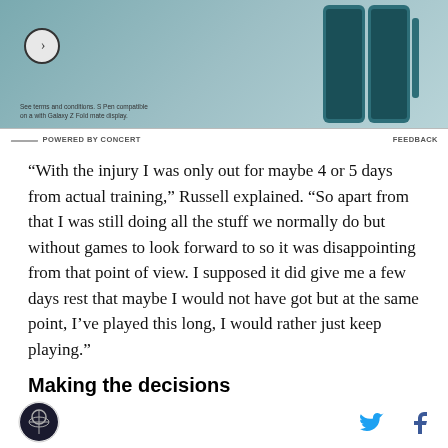[Figure (other): Advertisement banner showing a Samsung Galaxy Z Fold phone on a teal/gray background with a circular arrow icon and small text]
POWERED BY CONCERT    FEEDBACK
“With the injury I was only out for maybe 4 or 5 days from actual training,” Russell explained. “So apart from that I was still doing all the stuff we normally do but without games to look forward to so it was disappointing from that point of view. I supposed it did give me a few days rest that maybe I would not have got but at the same point, I’ve played this long, I would rather just keep playing.”
Making the decisions